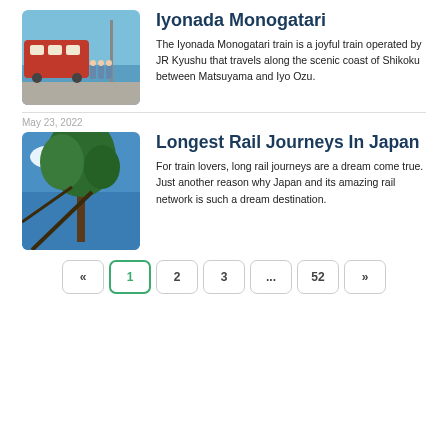Iyonada Monogatari
The Iyonada Monogatari train is a joyful train operated by JR Kyushu that travels along the scenic coast of Shikoku between Matsuyama and Iyo Ozu.
May 23, 2022
Longest Rail Journeys In Japan
For train lovers, long rail journeys are a dream come true. Just another reason why Japan and its amazing rail network is such a dream destination.
« 1 2 3 ... 52 »